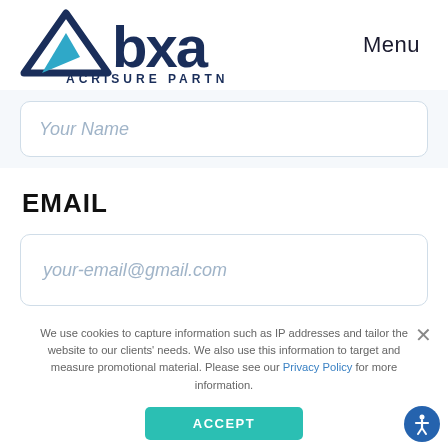Abxa Acrisure Partner — Menu
Your Name
EMAIL
your-email@gmail.com
We use cookies to capture information such as IP addresses and tailor the website to our clients' needs. We also use this information to target and measure promotional material. Please see our Privacy Policy for more information.
ACCEPT